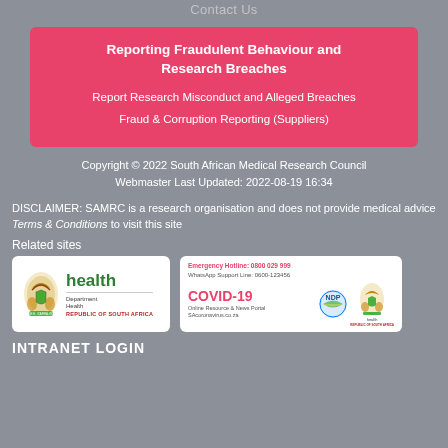Contact Us
Reporting Fraudulent Behaviour and Research Breaches
Report Research Misconduct and Alleged Breaches
Fraud & Corruption Reporting (Suppliers)
Copyright © 2022 South African Medical Research Council
Webmaster Last Updated: 2022-08-19 16:34
DISCLAIMER: SAMRC is a research organisation and does not provide medical advice
Terms & Conditions to visit this site
Related sites
[Figure (logo): Department of Health Republic of South Africa logo]
[Figure (logo): COVID-19 Online Resource & News Portal with Emergency Hotline: 0800 029 999, WhatsApp Support Line: 0600-123456, NDP and Health logos]
INTRANET LOGIN